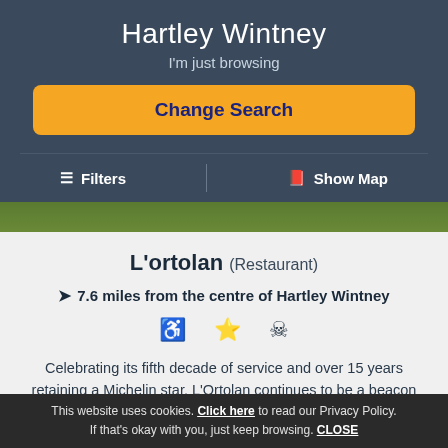Hartley Wintney
I'm just browsing
Change Search
≡ Filters    Show Map
L'ortolan (Restaurant)
7.6 miles from the centre of Hartley Wintney
Celebrating its fifth decade of service and over 15 years retaining a Michelin star, L'Ortolan continues to be a beacon of Berkshire's fine dining restaurant scene offeri...
Reviews: (10)
This website uses cookies. Click here to read our Privacy Policy. If that's okay with you, just keep browsing. CLOSE